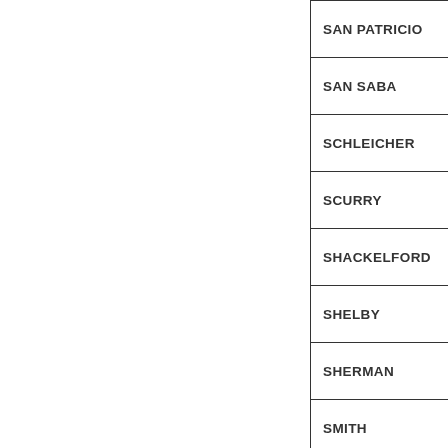| County |
| --- |
| SAN PATRICIO |
| SAN SABA |
| SCHLEICHER |
| SCURRY |
| SHACKELFORD |
| SHELBY |
| SHERMAN |
| SMITH |
| SOMERVELL |
| STARR |
|  |